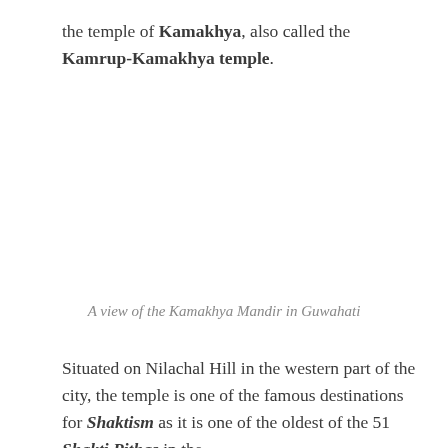the temple of Kamakhya, also called the Kamrup-Kamakhya temple.
A view of the Kamakhya Mandir in Guwahati
Situated on Nilachal Hill in the western part of the city, the temple is one of the famous destinations for Shaktism as it is one of the oldest of the 51 Shakti Pithas in the